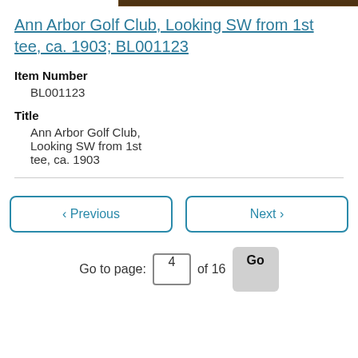[Figure (photo): Sepia-toned historical photograph of Ann Arbor Golf Club, showing a bare tree in the background and a tent structure, with handwritten caption overlay reading 'Grounds of the Ann Arbor Golf Club, Looking S.W. from the 1st tee']
Ann Arbor Golf Club, Looking SW from 1st tee, ca. 1903; BL001123
Item Number
BL001123
Title
Ann Arbor Golf Club, Looking SW from 1st tee, ca. 1903
< Previous
Next >
Go to page: 4 of 16 Go